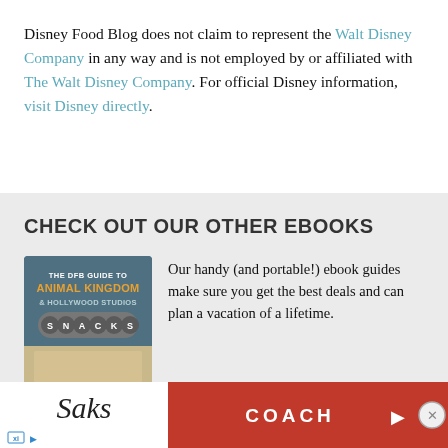Disney Food Blog does not claim to represent the Walt Disney Company in any way and is not employed by or affiliated with The Walt Disney Company. For official Disney information, visit Disney directly.
CHECK OUT OUR OTHER EBOOKS
[Figure (illustration): Book cover for 'The DFB Guide to Animal Kingdom & Hollywood Studios Snacks' with teal background, orange title text, and a circular badge with letters S N A C K S]
Our handy (and portable!) ebook guides make sure you get the best deals and can plan a vacation of a lifetime.
[Figure (other): Advertisement banner for Saks and Coach in red with white Saks cursive logo on left and COACH text with arrow on red background]